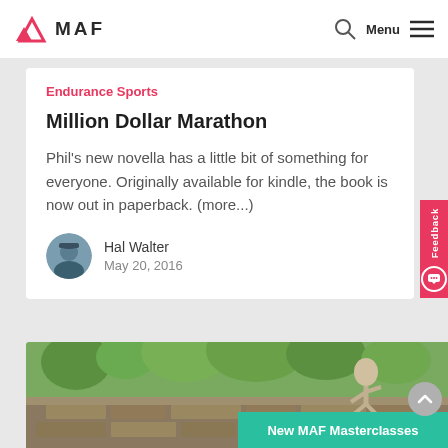MAF — Menu
Endurance Sports
Million Dollar Marathon
Phil's new novella has a little bit of something for everyone. Originally available for kindle, the book is now out in paperback. (more...)
Hal Walter
May 20, 2016
[Figure (photo): Person running or climbing over a stone wall outdoors with green trees in background]
New MAF Masterclasses